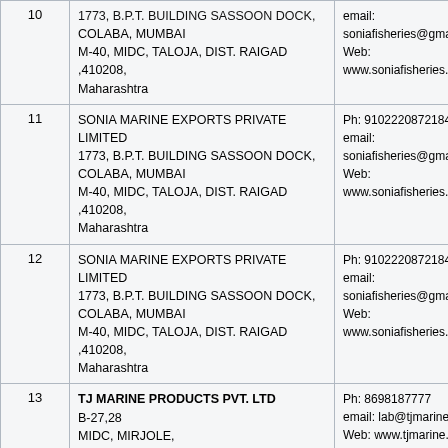| # | Name & Address | Contact |
| --- | --- | --- |
| 10 | SONIA MARINE EXPORTS PRIVATE LIMITED
1773, B.P.T. BUILDING SASSOON DOCK, COLABA, MUMBAI
M-40, MIDC, TALOJA, DIST. RAIGAD ,410208, Maharashtra | Ph: 91022208721840
email: soniafisheries@gmail.c...
Web: www.soniafisheries.co... |
| 11 | SONIA MARINE EXPORTS PRIVATE LIMITED
1773, B.P.T. BUILDING SASSOON DOCK, COLABA, MUMBAI
M-40, MIDC, TALOJA, DIST. RAIGAD ,410208, Maharashtra | Ph: 91022208721840
email: soniafisheries@gmail.c...
Web: www.soniafisheries.co... |
| 12 | SONIA MARINE EXPORTS PRIVATE LIMITED
1773, B.P.T. BUILDING SASSOON DOCK, COLABA, MUMBAI
M-40, MIDC, TALOJA, DIST. RAIGAD ,410208, Maharashtra | Ph: 91022208721840
email: soniafisheries@gmail.c...
Web: www.soniafisheries.co... |
| 13 | TJ MARINE PRODUCTS PVT. LTD
B-27,28
MIDC, MIRJOLE,
RATNAGIRI, 415639, Maharashtra | Ph: 8698187777
email: lab@tjmarine....
Web: www.tjmarine.... |
28-08-2022:01:58:22